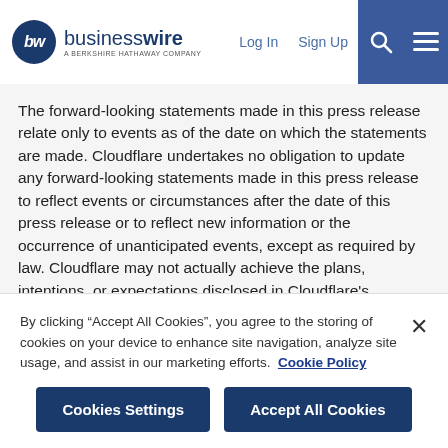businesswire - A Berkshire Hathaway Company | Log In | Sign Up
The forward-looking statements made in this press release relate only to events as of the date on which the statements are made. Cloudflare undertakes no obligation to update any forward-looking statements made in this press release to reflect events or circumstances after the date of this press release or to reflect new information or the occurrence of unanticipated events, except as required by law. Cloudflare may not actually achieve the plans, intentions, or expectations disclosed in Cloudflare's forward-looking statements, and you should not place undue reliance on Cloudflare's forward-looking statements.
By clicking “Accept All Cookies”, you agree to the storing of cookies on your device to enhance site navigation, analyze site usage, and assist in our marketing efforts. Cookie Policy
Cookies Settings | Accept All Cookies